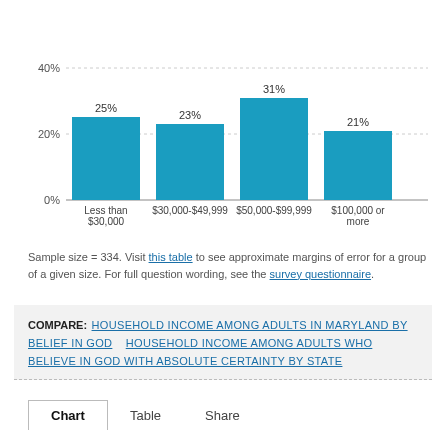[Figure (bar-chart): Household income among adults in Maryland who believe in God with absolute certainty]
Sample size = 334. Visit this table to see approximate margins of error for a group of a given size. For full question wording, see the survey questionnaire.
COMPARE: HOUSEHOLD INCOME AMONG ADULTS IN MARYLAND BY BELIEF IN GOD   HOUSEHOLD INCOME AMONG ADULTS WHO BELIEVE IN GOD WITH ABSOLUTE CERTAINTY BY STATE
Chart   Table   Share